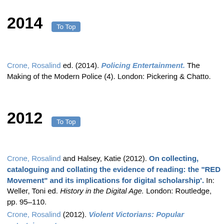2014   To Top
Crone, Rosalind ed. (2014). Policing Entertainment. The Making of the Modern Police (4). London: Pickering & Chatto.
2012   To Top
Crone, Rosalind and Halsey, Katie (2012). On collecting, cataloguing and collating the evidence of reading: the "RED Movement" and its implications for digital scholarship'. In: Weller, Toni ed. History in the Digital Age. London: Routledge, pp. 95–110.
Crone, Rosalind (2012). Violent Victorians: Popular entertainment